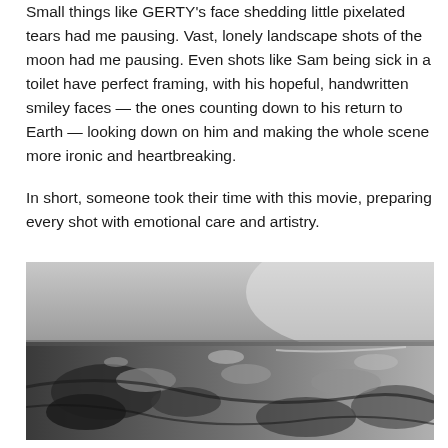Small things like GERTY's face shedding little pixelated tears had me pausing. Vast, lonely landscape shots of the moon had me pausing. Even shots like Sam being sick in a toilet have perfect framing, with his hopeful, handwritten smiley faces — the ones counting down to his return to Earth — looking down on him and making the whole scene more ironic and heartbreaking.
In short, someone took their time with this movie, preparing every shot with emotional care and artistry.
[Figure (photo): Black and white aerial or satellite photograph of a barren, rugged lunar or planetary landscape surface with craters and rough terrain.]